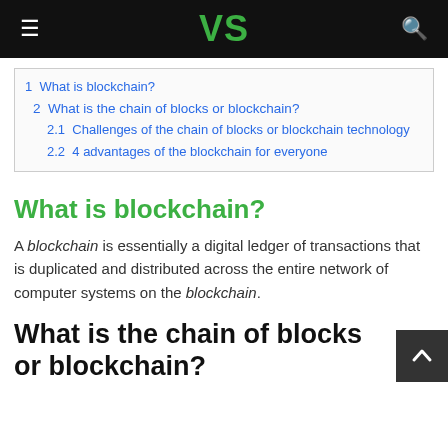VS
1  What is blockchain?
2  What is the chain of blocks or blockchain?
2.1  Challenges of the chain of blocks or blockchain technology
2.2  4 advantages of the blockchain for everyone
What is blockchain?
A blockchain is essentially a digital ledger of transactions that is duplicated and distributed across the entire network of computer systems on the blockchain.
What is the chain of blocks or blockchain?